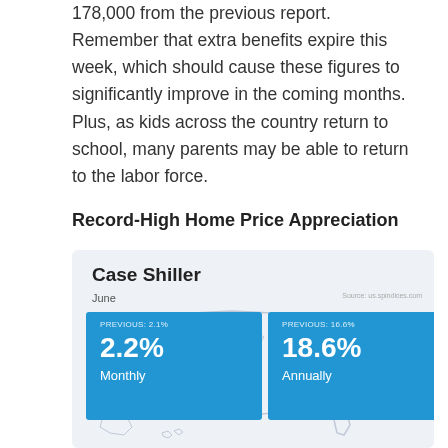178,000 from the previous report. Remember that extra benefits expire this week, which should cause these figures to significantly improve in the coming months. Plus, as kids across the country return to school, many parents may be able to return to the labor force.
Record-High Home Price Appreciation
[Figure (infographic): Case Shiller infographic showing June data with US map outline. Two blue boxes: left box shows PREVIOUS: 2.1%, 2.2% Monthly; right box shows PREVIOUS: 16.6%, 18.6% Annually.]